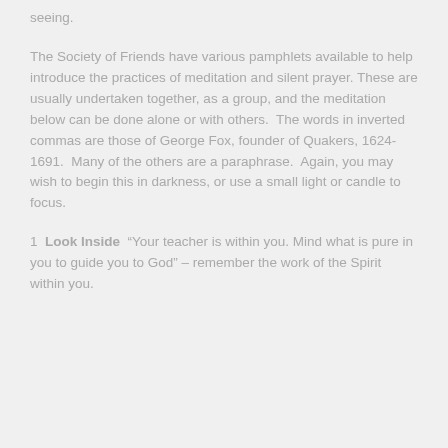seeing.
The Society of Friends have various pamphlets available to help introduce the practices of meditation and silent prayer. These are usually undertaken together, as a group, and the meditation below can be done alone or with others.  The words in inverted commas are those of George Fox, founder of Quakers, 1624-1691.  Many of the others are a paraphrase.  Again, you may wish to begin this in darkness, or use a small light or candle to focus.
1  Look Inside  “Your teacher is within you. Mind what is pure in you to guide you to God” – remember the work of the Spirit within you.